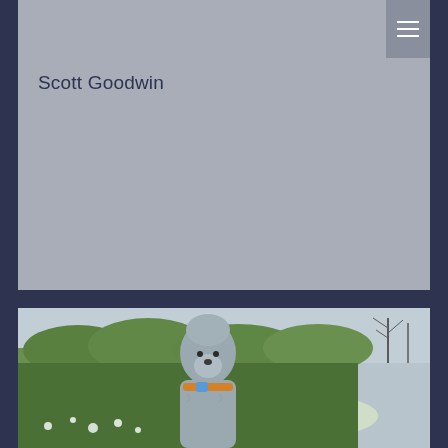Scott Goodwin
[Figure (photo): A gray Bedlington Terrier dog standing in front of a green hedge/bushes with a cloudy sky background. The dog has a curly gray coat and is wearing a colorful collar.]